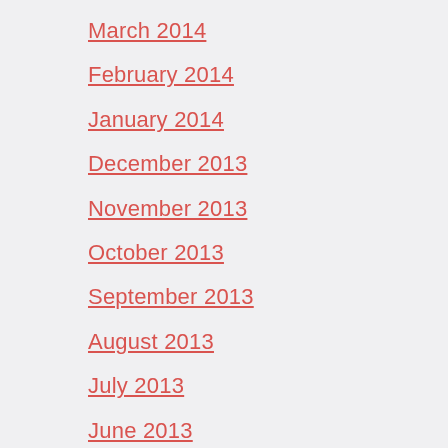March 2014
February 2014
January 2014
December 2013
November 2013
October 2013
September 2013
August 2013
July 2013
June 2013
May 2013